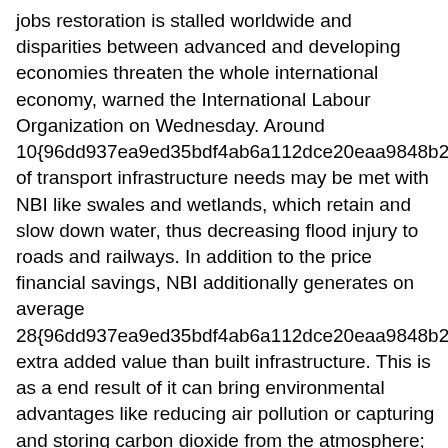jobs restoration is stalled worldwide and disparities between advanced and developing economies threaten the whole international economy, warned the International Labour Organization on Wednesday. Around 10{96dd937ea9ed35bdf4ab6a112dce20eaa9848b2f6179 of transport infrastructure needs may be met with NBI like swales and wetlands, which retain and slow down water, thus decreasing flood injury to roads and railways. In addition to the price financial savings, NBI additionally generates on average 28{96dd937ea9ed35bdf4ab6a112dce20eaa9848b2f6179 extra added value than built infrastructure. This is as a end result of it can bring environmental advantages like reducing air pollution or capturing and storing carbon dioxide from the atmosphere; social benefits like offering pleasant spaces to relax; or financial advantages like boosting tourism. A whole of US$4,290bn value of infrastructure is required worldwide each year, and 11{96dd937ea9ed35bdf4ab6a112dce20eaa9848b2f6179 of this could probably be met with NBI.